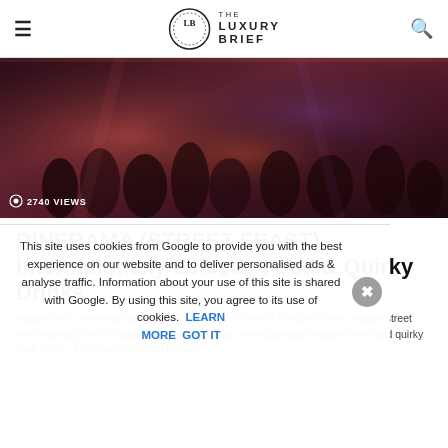≡  THE LUXURY BRIEF  🔍
[Figure (photo): Crowd of people at an indoor food festival or night market with warm reddish dramatic lighting. Text overlay reads '👁 2740 VIEWS']
DINERAMA (STREET FEAST) – Internationally Eclectic Food & Quirky Drinks
Cookie notice overlay: This site uses cookies from Google to provide you with the best experience on our website and to deliver personalised ads & analyse traffic. Information about your use of this site is shared with Google. By using this site, you agree to its use of cookies. LEARN MORE   GOT IT